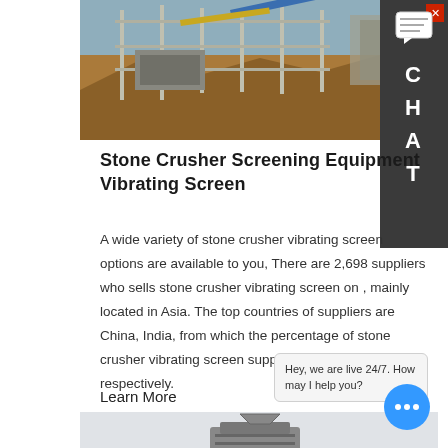[Figure (photo): Industrial stone crusher/screening plant with scaffolding, conveyor belts and machinery against a rocky outdoor background]
Stone Crusher Screening Equipment Vibrating Screen
A wide variety of stone crusher vibrating screen options are available to you, There are 2,698 suppliers who sells stone crusher vibrating screen on , mainly located in Asia. The top countries of suppliers are China, India, from which the percentage of stone crusher vibrating screen supply is 99%, 1% respectively.
Learn More
[Figure (photo): Stone crusher / screening equipment machine in light grey facility background]